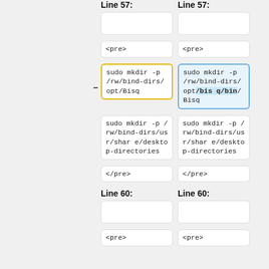Line 57:
Line 57:
(empty cell)
(empty cell)
<pre>
<pre>
sudo mkdir -p /rw/bind-dirs/opt/Bisq
sudo mkdir -p /rw/bind-dirs/opt/Bisq/bin/Bisq
sudo mkdir -p /rw/bind-dirs/usr/share/desktop-directories
sudo mkdir -p /rw/bind-dirs/usr/share/desktop-directories
</pre>
</pre>
Line 60:
Line 60:
(empty cell)
(empty cell)
<pre>
<pre>